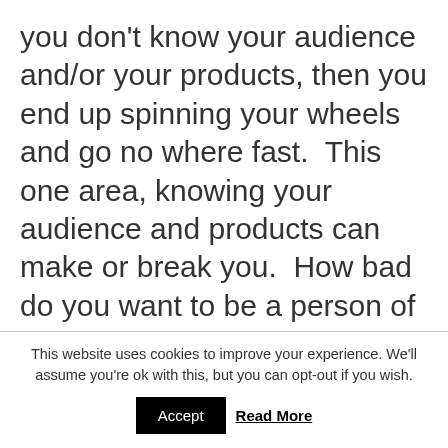you don't know your audience and/or your products, then you end up spinning your wheels and go no where fast.  This one area, knowing your audience and products can make or break you.  How bad do you want to be a person of influence or super affiliate?  The quality of your effort will show in your progress.  I love what I do, which is why I go to the extra trouble to provide you what you need to know.  Many miss it here in not knowing about the products they are selling
This website uses cookies to improve your experience. We'll assume you're ok with this, but you can opt-out if you wish.
Accept
Read More